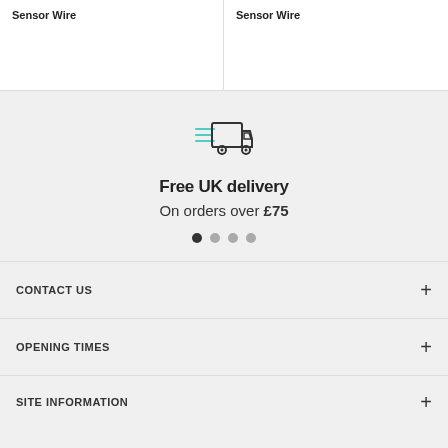Sensor Wire
Sensor Wire
[Figure (illustration): Delivery truck icon with speed lines in teal/dark outline style]
Free UK delivery
On orders over £75
CONTACT US
OPENING TIMES
SITE INFORMATION